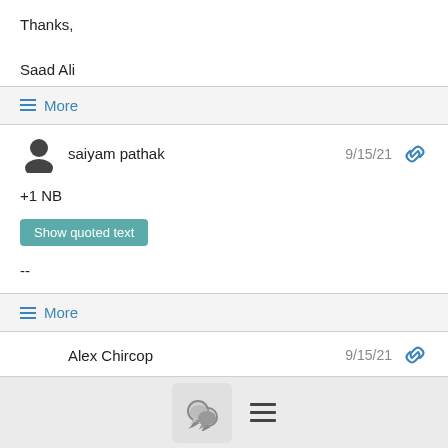Thanks,

Saad Ali
≡ More
saiyam pathak  9/15/21
+1 NB
Show quoted text
--
≡ More
Alex Chircop  9/15/21